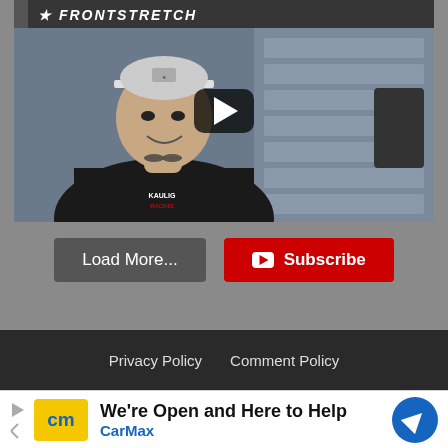[Figure (screenshot): Video thumbnail from Frontstretch showing a young man in a Kaulig Racing polo shirt and baseball cap, with a YouTube play button overlay. Set in what appears to be a garage or hauler.]
Load More...
Subscribe
Privacy Policy  Comment Policy
[Figure (screenshot): CarMax advertisement banner: 'We're Open and Here to Help' with CarMax logo and navigation icon.]